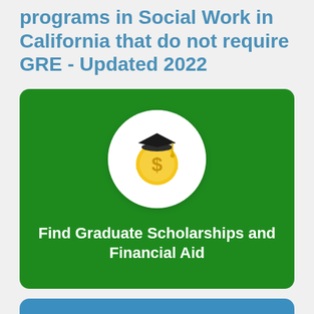programs in Social Work in California that do not require GRE - Updated 2022
[Figure (illustration): Green rounded card with a white circle containing a graduation cap icon on top of a gold coin with a dollar sign, with white bold text reading 'Find Graduate Scholarships and Financial Aid']
[Figure (illustration): Blue rounded card partially visible at the bottom of the page]